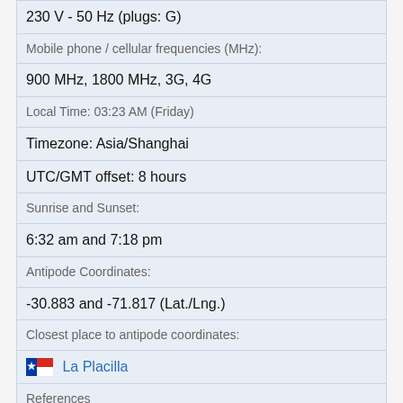230 V - 50 Hz (plugs: G)
Mobile phone / cellular frequencies (MHz):
900 MHz, 1800 MHz, 3G, 4G
Local Time: 03:23 AM (Friday)
Timezone: Asia/Shanghai
UTC/GMT offset: 8 hours
Sunrise and Sunset:
6:32 am and 7:18 pm
Antipode Coordinates:
-30.883 and -71.817 (Lat./Lng.)
Closest place to antipode coordinates:
La Placilla
References
This place on Wikipedia
This place on Geonames.org
⚠ Current travel safety evaluation for China in Eastern Asia